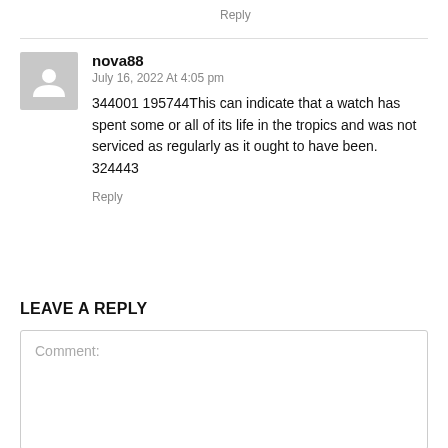Reply
nova88
July 16, 2022 At 4:05 pm
344001 195744This can indicate that a watch has spent some or all of its life in the tropics and was not serviced as regularly as it ought to have been. 324443
Reply
LEAVE A REPLY
Comment: